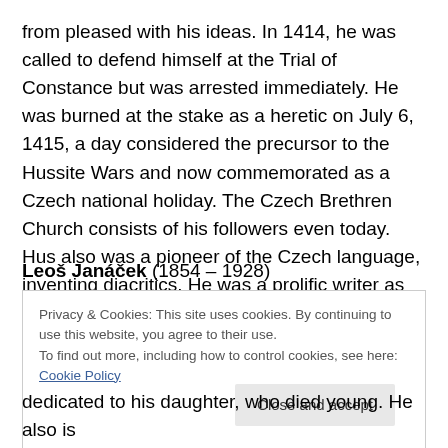from pleased with his ideas. In 1414, he was called to defend himself at the Trial of Constance but was arrested immediately. He was burned at the stake as a heretic on July 6, 1415, a day considered the precursor to the Hussite Wars and now commemorated as a Czech national holiday. The Czech Brethren Church consists of his followers even today. Hus also was a pioneer of the Czech language, inventing diacritics. He was a prolific writer as well.
Leoš Janáček (1854 – 1928)
Privacy & Cookies: This site uses cookies. By continuing to use this website, you agree to their use.
To find out more, including how to control cookies, see here: Cookie Policy
[Close and accept]
dedicated to his daughter, who died young. He also is